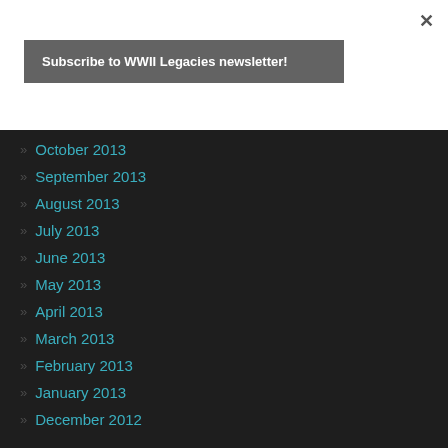×
Subscribe to WWII Legacies newsletter!
October 2013
September 2013
August 2013
July 2013
June 2013
May 2013
April 2013
March 2013
February 2013
January 2013
December 2012